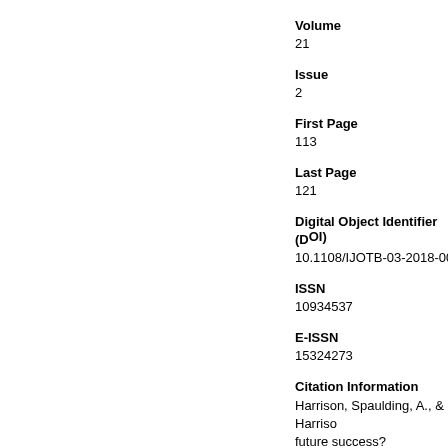Volume
21
Issue
2
First Page
113
Last Page
121
Digital Object Identifier (DOI)
10.1108/IJOTB-03-2018-0019
ISSN
10934537
E-ISSN
15324273
Citation Information
Harrison, Spaulding, A., & Harrison, future success? International Journal https://doi.org/10.1108/IJOTB-03-